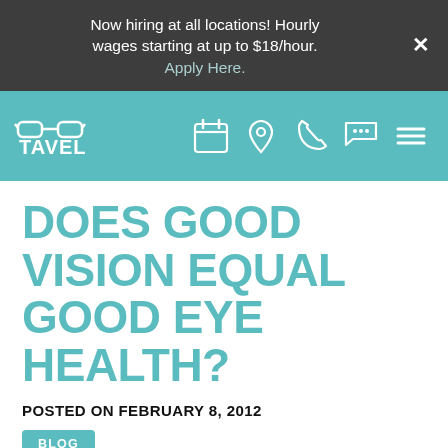Now hiring at all locations! Hourly wages starting at up to $18/hour. Apply Here.
[Figure (logo): Tavel eye care logo with navigation icons: calendar, location pin, phone, chat bubble, hamburger menu on teal background]
DOES GOOD VISION EQUAL GOOD EYE HEALTH?
POSTED ON FEBRUARY 8, 2012
BLOG
Can you see signs clearly and read without